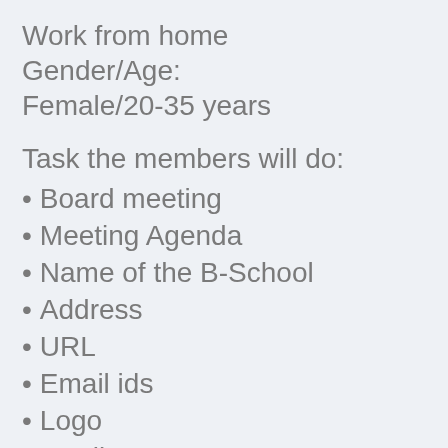Work from home
Gender/Age:
Female/20-35 years
Task the members will do:
Board meeting
Meeting Agenda
Name of the B-School
Address
URL
Email ids
Logo
Tag line
Rules and Regulations
Infrastructure plan
Intake of Students
Eligibility for Admission